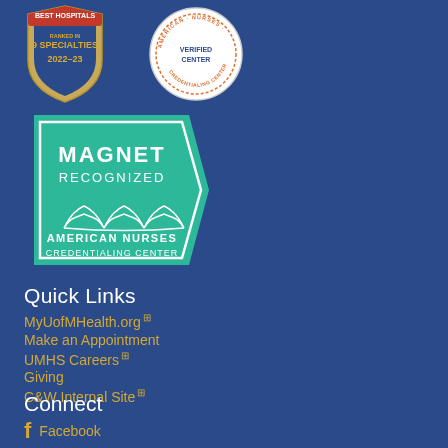[Figure (logo): US News Best Hospitals ranked in 9 specialties 2022-23 gold badge/shield]
[Figure (logo): Verified Center circular badge/seal]
[Figure (logo): Magnet Recognized American Nurses Credentialing Center green badge]
Quick Links
MyUofMHealth.org
Make an Appointment
UMHS Careers
Giving
C&W Internal Site
Connect
Facebook